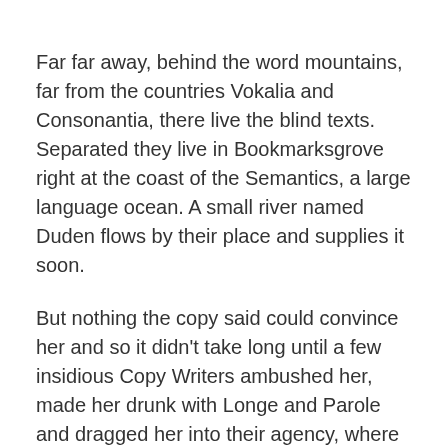Far far away, behind the word mountains, far from the countries Vokalia and Consonantia, there live the blind texts. Separated they live in Bookmarksgrove right at the coast of the Semantics, a large language ocean. A small river named Duden flows by their place and supplies it soon.
But nothing the copy said could convince her and so it didn't take long until a few insidious Copy Writers ambushed her, made her drunk with Longe and Parole and dragged her into their agency, where they abused her for their projects again and again. And if she hasn't been rewritten, then they are still using her.